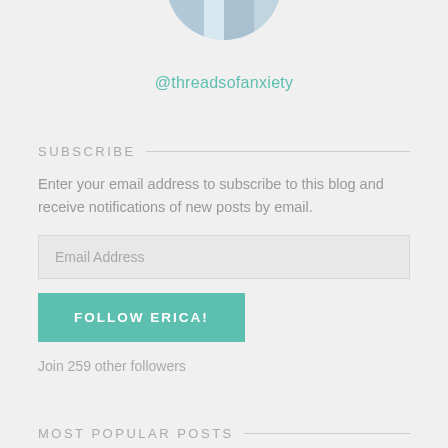[Figure (photo): Circular profile photo partially visible at the top of the page, cropped]
@threadsofanxiety
SUBSCRIBE
Enter your email address to subscribe to this blog and receive notifications of new posts by email.
Email Address
FOLLOW ERICA!
Join 259 other followers
MOST POPULAR POSTS